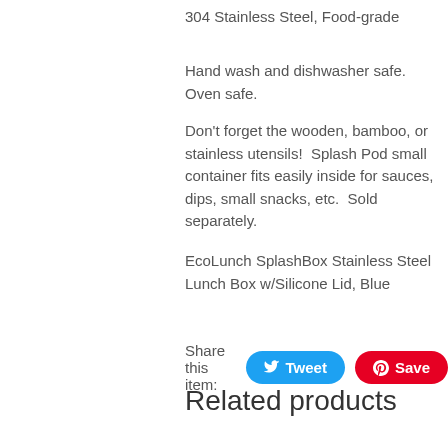304 Stainless Steel, Food-grade
Hand wash and dishwasher safe.  Oven safe.
Don't forget the wooden, bamboo, or stainless utensils!  Splash Pod small container fits easily inside for sauces, dips, small snacks, etc.  Sold separately.
EcoLunch SplashBox Stainless Steel Lunch Box w/Silicone Lid, Blue
Share this item:
Related products
[Figure (other): Green circle with X close button overlay, and orange Contact Us bar at bottom right]